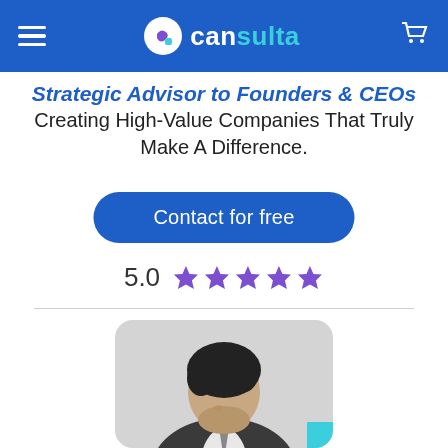cansulta
Strategic Advisor to Founders & CEOs Creating High-Value Companies That Truly Make A Difference.
Contact for free
5.0 ★★★★★
[Figure (photo): Profile photo of a man in a dark jacket, looking down, with dark curly hair, against a light gray background. A teal square is visible in the bottom right corner of the card.]